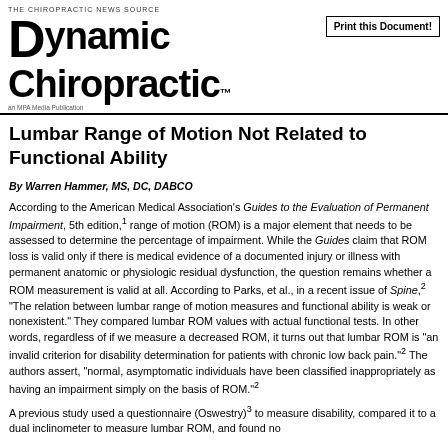Dynamic Chiropractic — THE CHIROPRACTIC NEWS SOURCE — an MPA Media Publication
Lumbar Range of Motion Not Related to Functional Ability
By Warren Hammer, MS, DC, DABCO
According to the American Medical Association's Guides to the Evaluation of Permanent Impairment, 5th edition,1 range of motion (ROM) is a major element that needs to be assessed to determine the percentage of impairment. While the Guides claim that ROM loss is valid only if there is medical evidence of a documented injury or illness with permanent anatomic or physiologic residual dysfunction, the question remains whether a ROM measurement is valid at all. According to Parks, et al., in a recent issue of Spine,2 "The relation between lumbar range of motion measures and functional ability is weak or nonexistent." They compared lumbar ROM values with actual functional tests. In other words, regardless of if we measure a decreased ROM, it turns out that lumbar ROM is "an invalid criterion for disability determination for patients with chronic low back pain."2 The authors assert, "normal, asymptomatic individuals have been classified inappropriately as having an impairment simply on the basis of ROM."2
A previous study used a questionnaire (Oswestry)3 to measure disability, compared it to a dual inclinometer to measure lumbar ROM, and found no